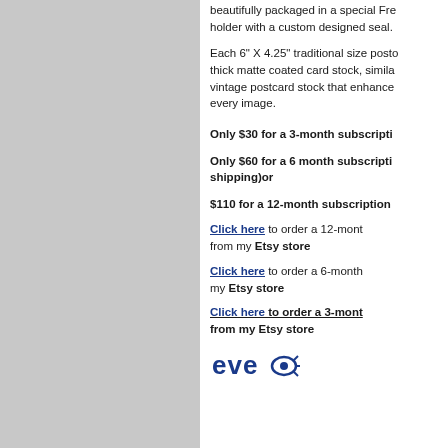beautifully packaged in a special French holder with a custom designed seal.
Each 6" X 4.25" traditional size postcard, thick matte coated card stock, similar to vintage postcard stock that enhances every image.
Only $30 for a 3-month subscription
Only $60 for a 6 month subscription (includes shipping)or
$110 for a 12-month subscription
Click here to order a 12-month from my Etsy store
Click here to order a 6-month from my Etsy store
Click here to order a 3-month from my Etsy store
[Figure (logo): Eye logo with stylized eye graphic and 'eve' text in dark blue]